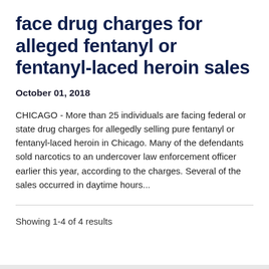face drug charges for alleged fentanyl or fentanyl-laced heroin sales
October 01, 2018
CHICAGO - More than 25 individuals are facing federal or state drug charges for allegedly selling pure fentanyl or fentanyl-laced heroin in Chicago. Many of the defendants sold narcotics to an undercover law enforcement officer earlier this year, according to the charges. Several of the sales occurred in daytime hours...
Showing 1-4 of 4 results